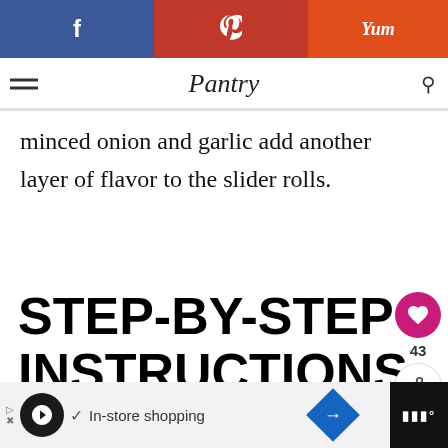f  p  Yum
Pantry
minced onion and garlic add another layer of flavor to the slider rolls.
STEP-BY-STEP INSTRUCTIONS
See the recipe card for complete instructions and ingredient amounts.
[Figure (other): What's Next card showing Cheesy Chicken Has... with small food photo thumbnail]
In-store shopping  [ad bar]